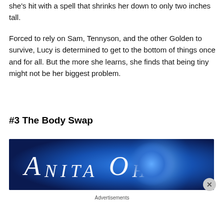she's hit with a spell that shrinks her down to only two inches tall.
Forced to rely on Sam, Tennyson, and the other Golden to survive, Lucy is determined to get to the bottom of things once and for all. But the more she learns, she finds that being tiny might not be her biggest problem.
#3 The Body Swap
[Figure (illustration): Book cover or advertisement banner with 'ANITA OH' text in white serif letters on a blue glowing background with a large circular light effect.]
Advertisements